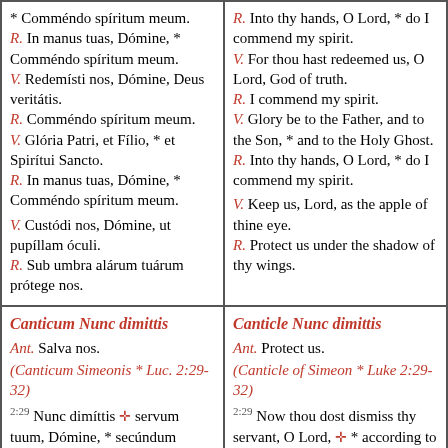* Comméndo spíritum meum. R. In manus tuas, Dómine, * Comméndo spíritum meum. V. Redemísti nos, Dómine, Deus veritátis. R. Comméndo spíritum meum. V. Glória Patri, et Fílio, * et Spirítui Sancto. R. In manus tuas, Dómine, * Comméndo spíritum meum. V. Custódi nos, Dómine, ut pupíllam óculi. R. Sub umbra alárum tuárum prótege nos.
R. Into thy hands, O Lord, * do I commend my spirit. V. For thou hast redeemed us, O Lord, God of truth. R. I commend my spirit. V. Glory be to the Father, and to the Son, * and to the Holy Ghost. R. Into thy hands, O Lord, * do I commend my spirit. V. Keep us, Lord, as the apple of thine eye. R. Protect us under the shadow of thy wings.
Canticum Nunc dimittis
Ant. Salva nos. (Canticum Simeonis * Luc. 2:29-32) 2:29 Nunc dimíttis + servum tuum, Dómine, * secúndum verbum tuum in pace: 2:30 Quia vidérunt óculi mei *
Canticle Nunc dimittis
Ant. Protect us. (Canticle of Simeon * Luke 2:29-32) 2:29 Now thou dost dismiss thy servant, O Lord, + * according to thy word in peace: